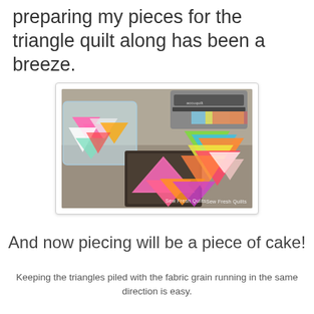preparing my pieces for the triangle quilt along has been a breeze.
[Figure (photo): A photo showing colorful fabric triangles cut and stacked on a cutting mat, with a sewing/cutting machine in the background and a clear plastic container of fabric pieces. Watermark reads 'Sew Fresh Quilts'.]
And now piecing will be a piece of cake!
Keeping the triangles piled with the fabric grain running in the same direction is easy.